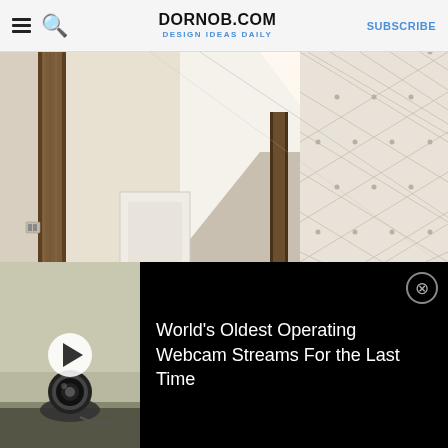DORNOB.COM · DESIGN IDEAS DAILY · SUBSCRIBE
[Figure (photo): Interior architectural photo showing a loft-style room with exposed wooden beams, white walls, a staircase, and a decorative quilted/diamond-pattern wall panel on the right side.]
[Figure (screenshot): Video player overlay at the bottom of the page showing a small webcam device on a shelf, with a white play button circle overlay. Adjacent text reads: World's Oldest Operating Webcam Streams For the Last Time. A close (X) button appears in the top-right corner of the overlay.]
World's Oldest Operating Webcam Streams For the Last Time